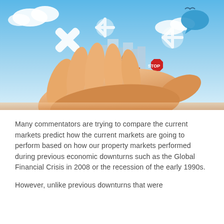[Figure (illustration): A hand holding a miniature cityscape scene with a businessman standing on green grass, surrounded by financial symbols (percent sign, X marks, snowflake/gear shapes), a stop sign, traffic cone, and a speech bubble. Blue sky background with clouds and a bird. Conceptual financial/economic illustration.]
Many commentators are trying to compare the current markets predict how the current markets are going to perform based on how our property markets performed during previous economic downturns such as the Global Financial Crisis in 2008 or the recession of the early 1990s.
However, unlike previous downturns that were